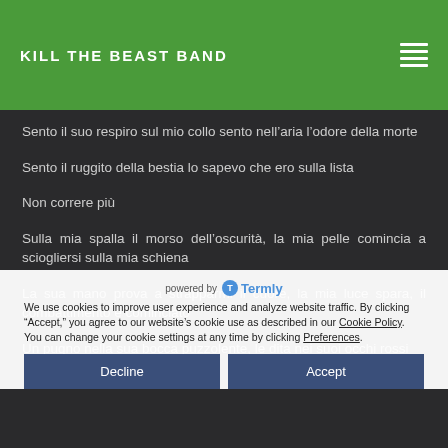KILL THE BEAST BAND
Sento il suo respiro sul mio collo sento nell’aria l’odore della morte
Sento il ruggito della bestia lo sapevo che ero sulla lista
Non correre più
Sulla mia spalla il morso dell’oscurità, la mia pelle comincia a sciogliersi sulla mia schiena
La sua mano prova a strapparmi il cuore, la mia luce spara, il combattimento è cominciato
Un pugno nella sua bocca puzzolente, le dita nei suoi occhi rossi
powered by Termly
We use cookies to improve user experience and analyze website traffic. By clicking “Accept,” you agree to our website’s cookie use as described in our Cookie Policy. You can change your cookie settings at any time by clicking Preferences.